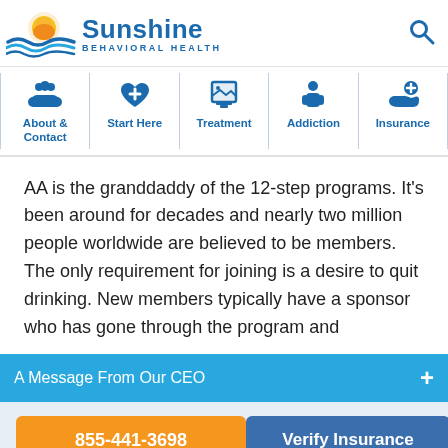[Figure (logo): Sunshine Behavioral Health logo with sun and waves graphic, blue text reading 'Sunshine BEHAVIORAL HEALTH']
[Figure (infographic): Navigation bar with 5 icons: About & Contact (people icon), Start Here (heart with plus icon), Treatment (glass/frame icon), Addiction (person icon), Insurance (hand with plus icon)]
AA is the granddaddy of the 12-step programs. It's been around for decades and nearly two million people worldwide are believed to be members. The only requirement for joining is a desire to quit drinking. New members typically have a sponsor who has gone through the program and
A Message From Our CEO
855-441-3698
Verify Insurance